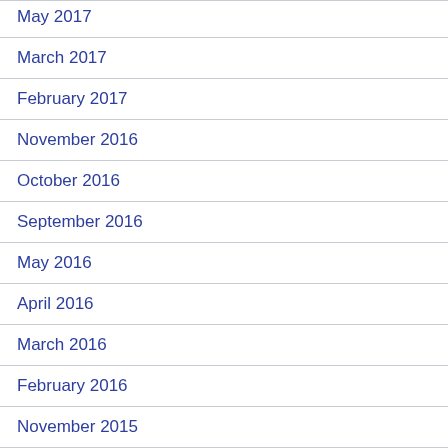May 2017
March 2017
February 2017
November 2016
October 2016
September 2016
May 2016
April 2016
March 2016
February 2016
November 2015
September 2015